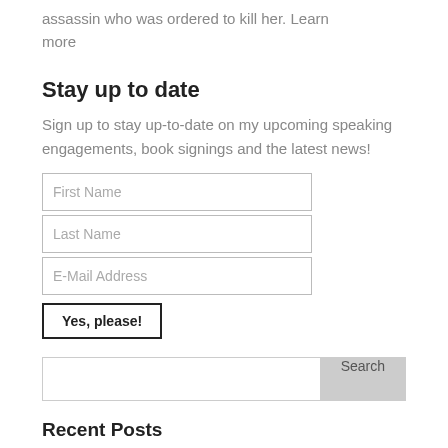assassin who was ordered to kill her. Learn more
Stay up to date
Sign up to stay up-to-date on my upcoming speaking engagements, book signings and the latest news!
First Name
Last Name
E-Mail Address
Yes, please!
Search
Recent Posts